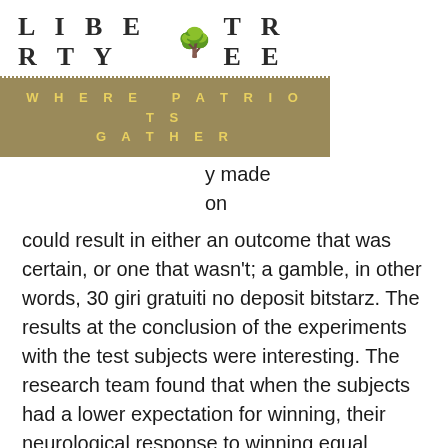LIBERTY TREE
WHERE PATRIOTS GATHER
could result in either an outcome that was certain, or one that wasn't; a gamble, in other words, 30 giri gratuiti no deposit bitstarz. The results at the conclusion of the experiments with the test subjects were interesting. The research team found that when the subjects had a lower expectation for winning, their neurological response to winning equal rewards was heightened. The evidence was two-fold, supported by the subjects' own reports of the happiness they experienced in conjunction with the functional magnetic resonance imaging (fMRI) scans, revealing a boost in neurological activity in an area of the brain correlating with dopamine neurons. The house edge being the advantage the